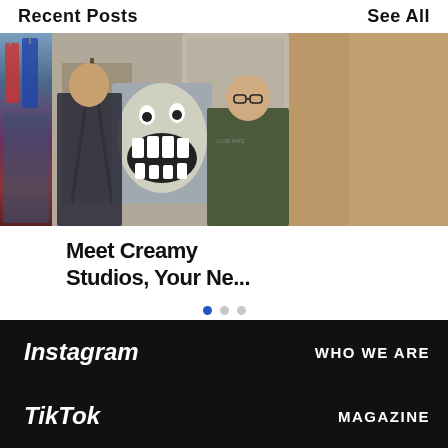Recent Posts     See All
[Figure (photo): Carousel of blog post images. Center image shows two young men in a studio holding a cartoon-style painting of a screaming face with large teeth. Left image shows colorful clothing items. Right image shows a partial view of a brown/tan scene.]
Meet Creamy Studios, Your Ne...
[Figure (other): Carousel pagination dots: first dot is filled blue (active), second and third are gray]
Instagram
WHO WE ARE
TikTok
MAGAZINE